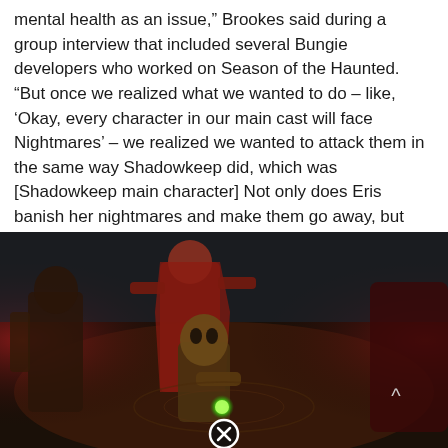mental health as an issue," Brookes said during a group interview that included several Bungie developers who worked on Season of the Haunted. “But once we realized what we wanted to do – like, ‘Okay, every character in our main cast will face Nightmares’ – we realized we wanted to attack them in the same way Shadowkeep did, which was [Shadowkeep main character] Not only does Eris banish her nightmares and make them go away, but she comes to terms with the loss of her fireteam.”
[Figure (screenshot): Screenshot from Destiny 2 Season of the Haunted showing game characters in a dark red-lit environment. A character in a red cloak stands in the background with arms raised, a figure in dark armor stands to the left, and a character with a skull-like mask is in the foreground with a glowing green orb. A close button (X in circle) and a scroll-up arrow (^) overlay the image.]